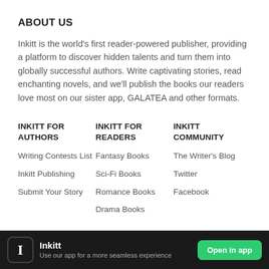ABOUT US
Inkitt is the world's first reader-powered publisher, providing a platform to discover hidden talents and turn them into globally successful authors. Write captivating stories, read enchanting novels, and we'll publish the books our readers love most on our sister app, GALATEA and other formats.
INKITT FOR AUTHORS
Writing Contests List
Inkitt Publishing
Submit Your Story
INKITT FOR READERS
Fantasy Books
Sci-Fi Books
Romance Books
Drama Books
INKITT COMMUNITY
The Writer's Blog
Twitter
Facebook
Inkitt — Use our app for a more seamless experience — Open in app